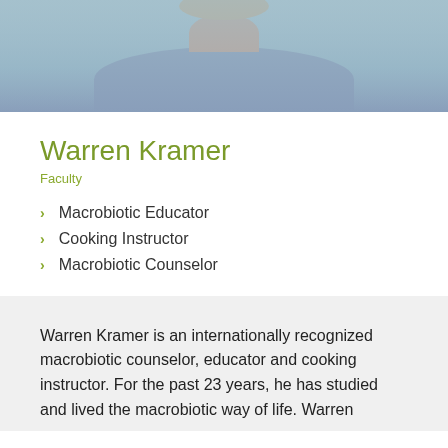[Figure (photo): Portrait photo of Warren Kramer, a man in a light blue sweater, photographed outdoors]
Warren Kramer
Faculty
Macrobiotic Educator
Cooking Instructor
Macrobiotic Counselor
Warren Kramer is an internationally recognized macrobiotic counselor, educator and cooking instructor. For the past 23 years, he has studied and lived the macrobiotic way of life. Warren